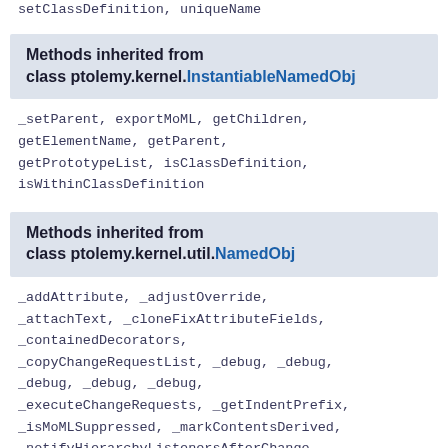setClassDefinition, uniqueName
Methods inherited from class ptolemy.kernel.InstantiableNamedObj
_setParent, exportMoML, getChildren, getElementName, getParent, getPrototypeList, isClassDefinition, isWithinClassDefinition
Methods inherited from class ptolemy.kernel.util.NamedObj
_addAttribute, _adjustOverride, _attachText, _cloneFixAttributeFields, _containedDecorators, _copyChangeRequestList, _debug, _debug, _debug, _debug, _debug, _executeChangeRequests, _getIndentPrefix, _isMoMLSuppressed, _markContentsDerived, _notifyHierarchyListenersAfterChange, _notifyHierarchyListenersBeforeChange, _propagateValue, _removeAttribute